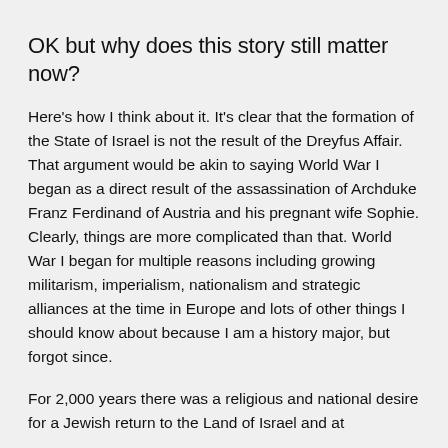OK but why does this story still matter now?
Here's how I think about it. It's clear that the formation of the State of Israel is not the result of the Dreyfus Affair. That argument would be akin to saying World War I began as a direct result of the assassination of Archduke Franz Ferdinand of Austria and his pregnant wife Sophie. Clearly, things are more complicated than that. World War I began for multiple reasons including growing militarism, imperialism, nationalism and strategic alliances at the time in Europe and lots of other things I should know about because I am a history major, but forgot since.
For 2,000 years there was a religious and national desire for a Jewish return to the Land of Israel and at